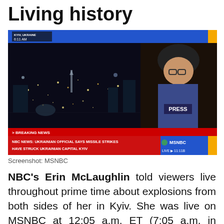Living history
[Figure (screenshot): MSNBC breaking news screenshot showing Kyiv at night on left and reporter Erin McLaughlin wearing a helmet and press vest on right. Banner reads: NBC NEWS: UKRAINIAN OFFICIAL SAYS MISSILE STRIKES HAVE STRUCK UKRAINIAN CAPITAL KYIV. LIVE 11:11B. Location chyron: KYIV, UKRAINE 6:11 AM.]
Screenshot: MSNBC
NBC's Erin McLaughlin told viewers live throughout prime time about explosions from both sides of her in Kyiv. She was live on MSNBC at 12:05 a.m. ET (7:05 a.m. in Ukraine) when she heard the first sirens going off.